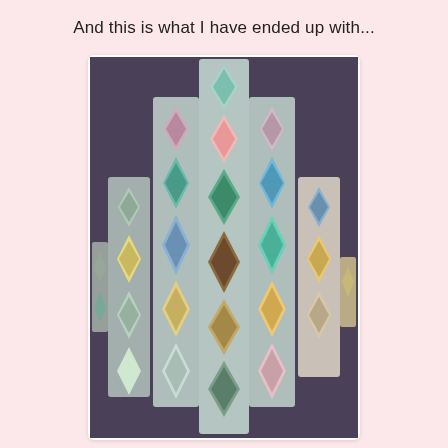And this is what I have ended up with...
[Figure (photo): A photo of quilt blocks arranged on a dark grey/purple background in a diamond/chevron pattern. Multiple rectangular quilt panels with diamond-shaped fabric pieces in pastel colors (mint green, pink, blue, yellow, floral patterns) are laid out in ascending and descending columns to form a symmetrical arrangement.]